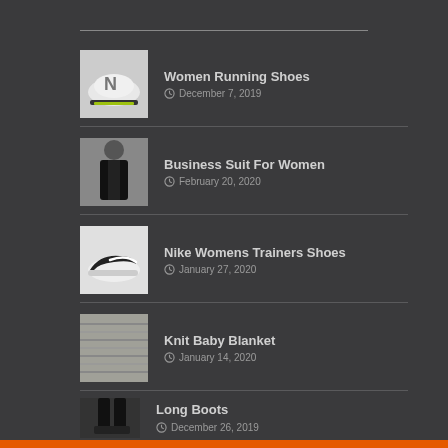Women Running Shoes
December 7, 2019
Business Suit For Women
February 20, 2020
Nike Womens Trainers Shoes
January 27, 2020
Knit Baby Blanket
January 14, 2020
Long Boots
December 26, 2019